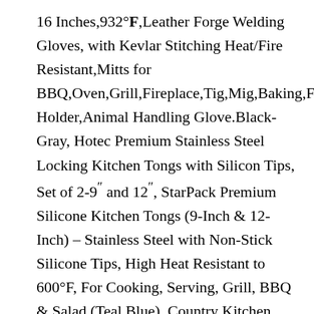16 Inches,932°F,Leather Forge Welding Gloves, with Kevlar Stitching Heat/Fire Resistant,Mitts for BBQ,Oven,Grill,Fireplace,Tig,Mig,Baking,Furnace,Holder,Animal Handling Glove.Black-Gray, Hotec Premium Stainless Steel Locking Kitchen Tongs with Silicon Tips, Set of 2-9" and 12", StarPack Premium Silicone Kitchen Tongs (9-Inch & 12-Inch) – Stainless Steel with Non-Stick Silicone Tips, High Heat Resistant to 600°F, For Cooking, Serving, Grill, BBQ & Salad (Teal Blue), Country Kitchen Stainless Steel Silicone Tipped Kitchen Food BBQ and Cooking Tongs Set of Two 10" and 13" for Non Stick Cookware, BPA Fee, Stylish, Sturdy, Locking, Grill Tong, Gunmetal and Mint